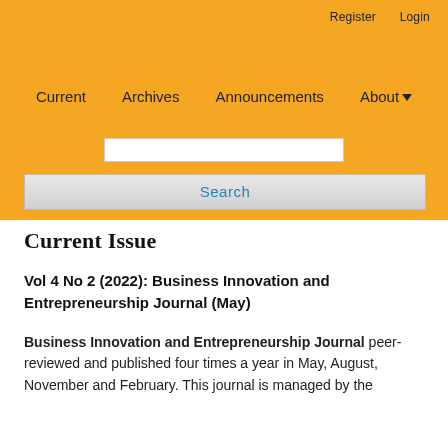Register   Login
Current   Archives   Announcements   About
Search
Current Issue
Vol 4 No 2 (2022): Business Innovation and Entrepreneurship Journal (May)
Business Innovation and Entrepreneurship Journal peer-reviewed and published four times a year in May, August, November and February. This journal is managed by the